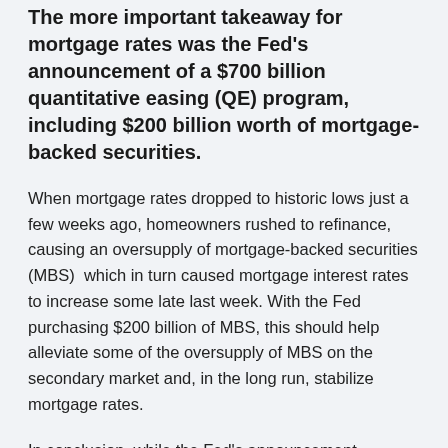The more important takeaway for mortgage rates was the Fed's announcement of a $700 billion quantitative easing (QE) program, including $200 billion worth of mortgage-backed securities.
When mortgage rates dropped to historic lows just a few weeks ago, homeowners rushed to refinance, causing an oversupply of mortgage-backed securities (MBS)  which in turn caused mortgage interest rates to increase some late last week. With the Fed purchasing $200 billion of MBS, this should help alleviate some of the oversupply of MBS on the secondary market and, in the long run, stabilize mortgage rates.
In conclusion, while the Fed's announcement provides bank's additional liquidity during this period of economic uncertainty, mortgage rates